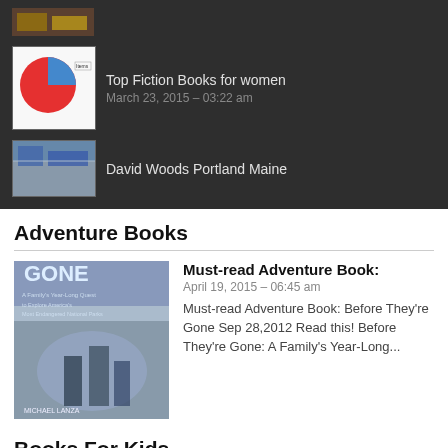[Figure (screenshot): Dark panel with two list items: 'Top Fiction Books for women' with pie chart thumbnail dated March 23, 2015 03:22 am, and 'David Woods Portland Maine' with building photo thumbnail]
Adventure Books
[Figure (photo): Book cover for 'Before They're Gone' adventure book]
Must-read Adventure Book:
April 19, 2015 – 06:45 am
Must-read Adventure Book: Before They're Gone Sep 28,2012 Read this! Before They're Gone: A Family's Year-Long...
Books For Kids
[Figure (photo): Grid of children's book covers]
Books Adventure for Kids
April 15, 2015 – 06:29 am
Ages: 4-6 Who wrote it? Holly Hobbie What's it about? Toot and Puddle are the best of friends with very different...
Dane Maddock Adventures